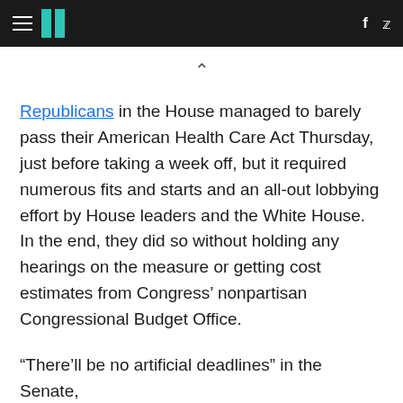HuffPost navigation and social icons header
Republicans in the House managed to barely pass their American Health Care Act Thursday, just before taking a week off, but it required numerous fits and starts and an all-out lobbying effort by House leaders and the White House. In the end, they did so without holding any hearings on the measure or getting cost estimates from Congress’ nonpartisan Congressional Budget Office.
“There’ll be no artificial deadlines” in the Senate,